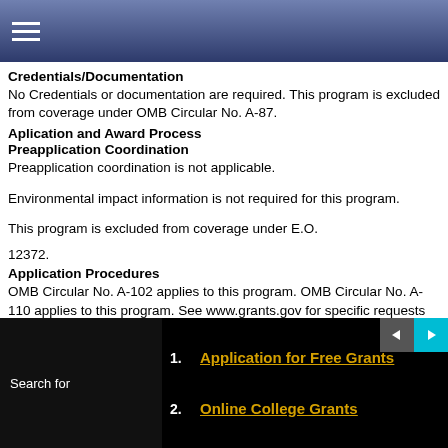Navigation bar with hamburger menu
Credentials/Documentation
No Credentials or documentation are required. This program is excluded from coverage under OMB Circular No. A-87.
Aplication and Award Process
Preapplication Coordination
Preapplication coordination is not applicable.
Environmental impact information is not required for this program.
This program is excluded from coverage under E.O.
12372.
Application Procedures
OMB Circular No. A-102 applies to this program. OMB Circular No. A-110 applies to this program. See www.grants.gov for specific requests for proposals.
Award Procedures
See www.grants.gov for specific requests for proposals.
Deadlines
Not Applicable.
Search for
1. Application for Free Grants
2. Online College Grants